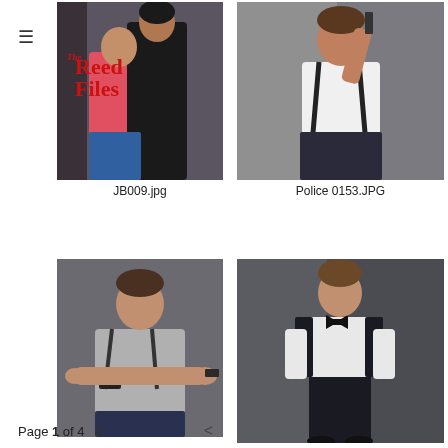The Reed Files
[Figure (photo): Couple embracing, man in black, woman in pink top, book cover style image with 'The Reed Files' logo overlay]
JB009.jpg
[Figure (photo): Man in white shirt with shoulder holster holding a gun up, standing against dark backdrop]
Police 0153.JPG
[Figure (photo): Man in grey shirt with shoulder holster aiming a handgun at camera]
[Figure (photo): Man in white shirt and bow tie, black trousers, standing against dark backdrop]
Page 1 of 4